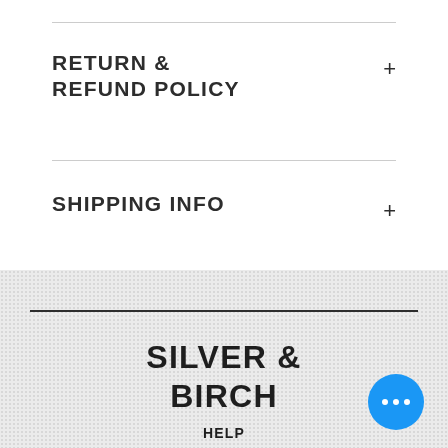RETURN & REFUND POLICY
SHIPPING INFO
SILVER & BIRCH
HELP
SHIPPING & RETURNS
STORE POLICY